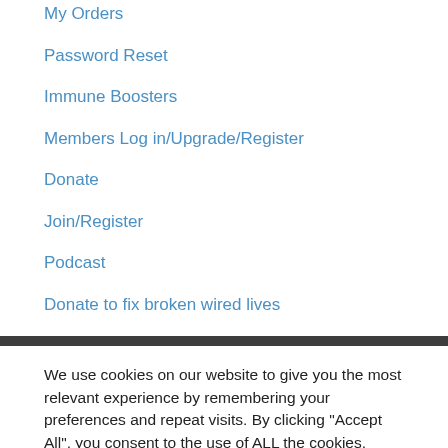My Orders
Password Reset
Immune Boosters
Members Log in/Upgrade/Register
Donate
Join/Register
Podcast
Donate to fix broken wired lives
We use cookies on our website to give you the most relevant experience by remembering your preferences and repeat visits. By clicking "Accept All", you consent to the use of ALL the cookies. However, you may visit "Cookie Settings" to provide a controlled consent.